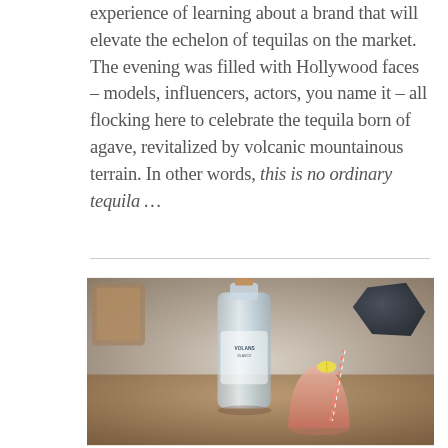experience of learning about a brand that will elevate the echelon of tequilas on the market. The evening was filled with Hollywood faces – models, influencers, actors, you name it – all flocking here to celebrate the tequila born of agave, revitalized by volcanic mountainous terrain. In other words, this is no ordinary tequila …
[Figure (photo): A bottle of Volans tequila on a wooden table with a pink cocktail garnished with a lemon wedge and striped straw beside it, with blurred background elements including a dark geometric object and other bar items.]